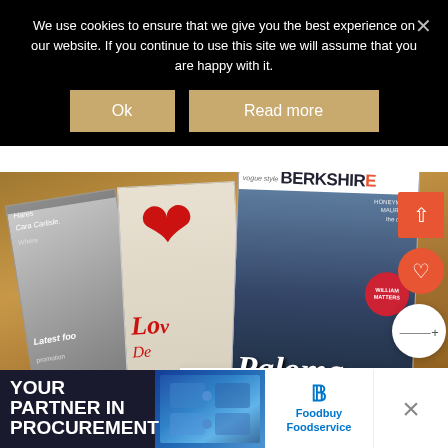We use cookies to ensure that we give you the best experience on our website. If you continue to use this site we will assume that you are happy with it.
Ok
Read more
[Figure (photo): Photo of several magazine covers laid on a wooden surface, including a Berkshire magazine with Paloma on the cover, a love/heart themed magazine, and another lifestyle magazine. Overlaid are navigation buttons including an up arrow (orange), a heart button (orange), and a share button (white circle).]
WHAT'S NEXT → A Family Weekend at...
[Figure (photo): Circular thumbnail image for 'A Family Weekend at...' article]
YOUR PARTNER IN PROCUREMENT
[Figure (photo): Foodbuy Foodservice advertisement banner with puzzle pieces imagery and Foodbuy Foodservice logo]